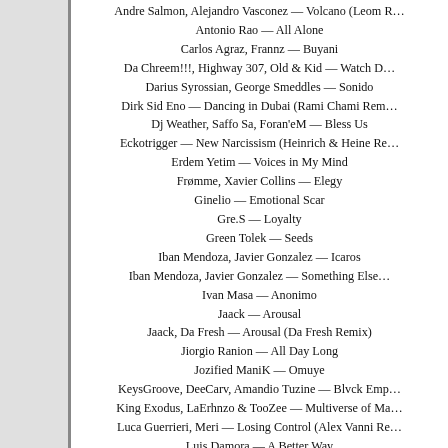Andre Salmon, Alejandro Vasconez — Volcano (Leom R…
Antonio Rao — All Alone
Carlos Agraz, Frannz — Buyani
Da Chreem!!!, Highway 307, Old & Kid — Watch D…
Darius Syrossian, George Smeddles — Sonido
Dirk Sid Eno — Dancing in Dubai (Rami Chami Rem…
Dj Weather, Saffo Sa, Foran'eM — Bless Us
Eckotrigger — New Narcissism (Heinrich & Heine Re…
Erdem Yetim — Voices in My Mind
Frømme, Xavier Collins — Elegy
Ginelio — Emotional Scar
Gre.S — Loyalty
Green Tolek — Seeds
Iban Mendoza, Javier Gonzalez — Icaros
Iban Mendoza, Javier Gonzalez — Something Else…
Ivan Masa — Anonimo
Jaack — Arousal
Jaack, Da Fresh — Arousal (Da Fresh Remix)
Jiorgio Ranion — All Day Long
Jozified ManiK — Omuye
KeysGroove, DeeCarv, Amandio Tuzine — Blvck Emp…
King Exodus, LaErhnzo & TooZee — Multiverse of Ma…
Luca Guerrieri, Meri — Losing Control (Alex Vanni Re…
Luis Damora — A Better Way
Luis Damora — I Surrender